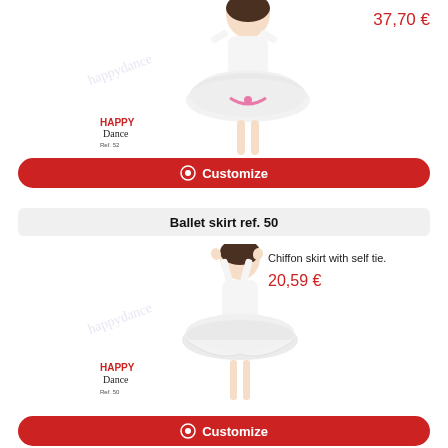37,70 €
[Figure (photo): Girl wearing white ballet tutu dress with pink ribbon, Happy Dance brand logo and ref. 52 label below]
⊙ Customize
Ballet skirt ref. 50
Chiffon skirt with self tie.
20,59 €
[Figure (photo): Girl wearing white chiffon ballet skirt, Happy Dance brand logo and ref. 50 label below]
⊙ Customize